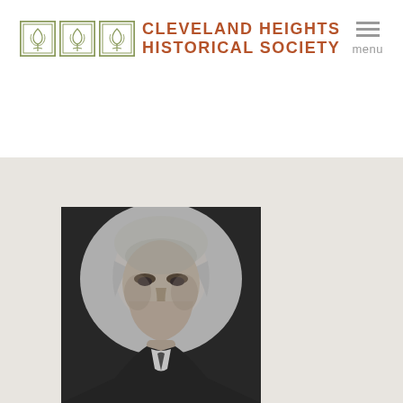CLEVELAND HEIGHTS HISTORICAL SOCIETY
[Figure (photo): Black and white portrait photograph of a middle-aged man with gray hair and a mustache, wearing a suit and tie, facing slightly left]
[Figure (logo): Cleveland Heights Historical Society logo with three square decorative tile icons and text]